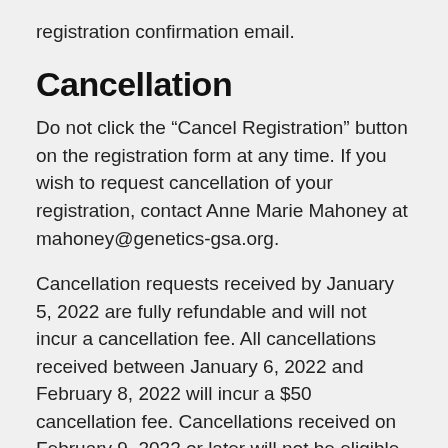registration confirmation email.
Cancellation
Do not click the “Cancel Registration” button on the registration form at any time. If you wish to request cancellation of your registration, contact Anne Marie Mahoney at mahoney@genetics-gsa.org.
Cancellation requests received by January 5, 2022 are fully refundable and will not incur a cancellation fee. All cancellations received between January 6, 2022 and February 8, 2022 will incur a $50 cancellation fee. Cancellations received on February 9, 2022 or later will not be eligible for a refund. There is no